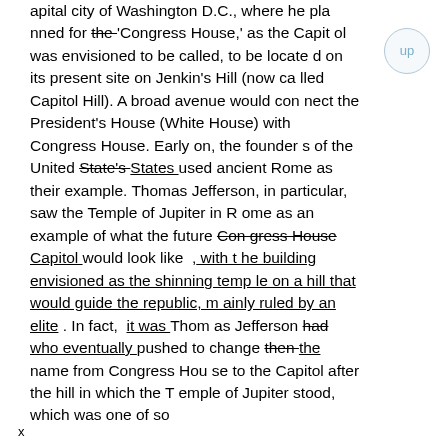apital city of Washington D.C., where he planned for the 'Congress House,' as the Capitol was envisioned to be called, to be located on its present site on Jenkin's Hill (now called Capitol Hill). A broad avenue would connect the President's House (White House) with Congress House. Early on, the founders of the United State's States used ancient Rome as their example. Thomas Jefferson, in particular, saw the Temple of Jupiter in Rome as an example of what the future Congress House Capitol would look like , with the building envisioned as the shinning temple on a hill that would guide the republic, mainly ruled by an elite . In fact, it was Thomas Jefferson had who eventually pushed to change then the name from Congress House to the Capitol after the hill in which the Temple of Jupiter stood, which was one of so
x